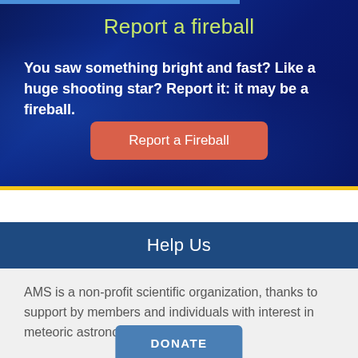Report a fireball
You saw something bright and fast? Like a huge shooting star? Report it: it may be a fireball.
Report a Fireball
Help Us
AMS is a non-profit scientific organization, thanks to support by members and individuals with interest in meteoric astronomy. Please help us!
DONATE